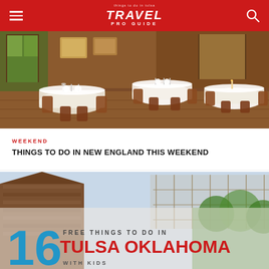TRAVEL PRO GUIDE
[Figure (photo): Interior of an elegant restaurant with white tablecloths, wooden chairs, set tables with glassware, warm lighting from windows]
WEEKEND
THINGS TO DO IN NEW ENGLAND THIS WEEKEND
[Figure (infographic): Image of rustic buildings with text overlay: '16 FREE THINGS TO DO IN TULSA OKLAHOMA WITH KIDS']